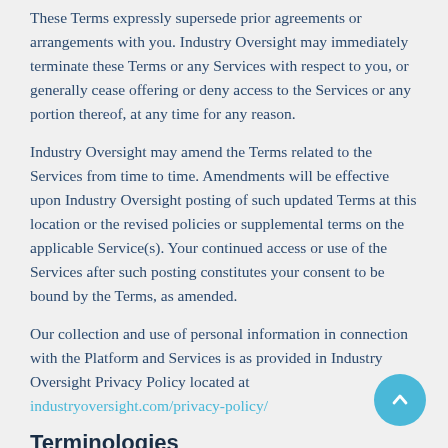These Terms expressly supersede prior agreements or arrangements with you. Industry Oversight may immediately terminate these Terms or any Services with respect to you, or generally cease offering or deny access to the Services or any portion thereof, at any time for any reason.
Industry Oversight may amend the Terms related to the Services from time to time. Amendments will be effective upon Industry Oversight posting of such updated Terms at this location or the revised policies or supplemental terms on the applicable Service(s). Your continued access or use of the Services after such posting constitutes your consent to be bound by the Terms, as amended.
Our collection and use of personal information in connection with the Platform and Services is as provided in Industry Oversight Privacy Policy located at industryoversight.com/privacy-policy/
Terminologies
"Platform" means all IndustryOversight.com